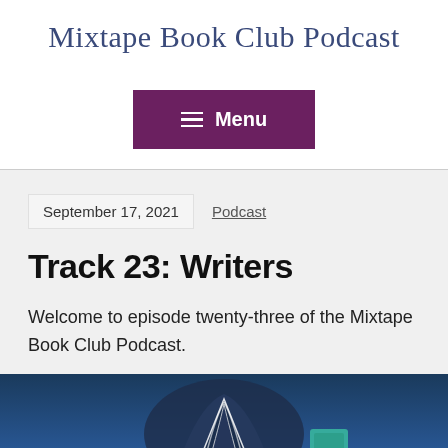Mixtape Book Club Podcast
[Figure (screenshot): Menu button with hamburger icon on dark purple background]
September 17, 2021
Podcast
Track 23: Writers
Welcome to episode twenty-three of the Mixtape Book Club Podcast.
[Figure (illustration): Partial illustration showing a dark blue anime-style character with white outlines at the bottom of the page]